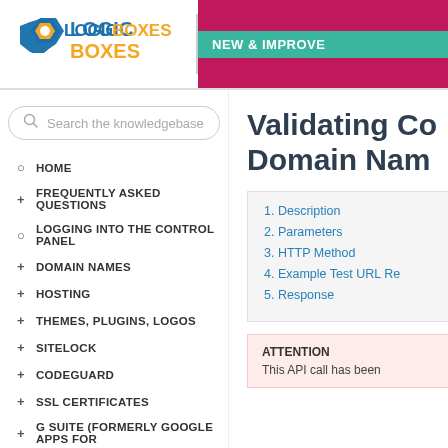[Figure (logo): LogicBoxes logo with blue hexagon icon and orange/blue text]
[Figure (infographic): NEW & IMPROVED banner with teal and magenta bars]
Search the knowledgebase
HOME
FREQUENTLY ASKED QUESTIONS
LOGGING INTO THE CONTROL PANEL
DOMAIN NAMES
HOSTING
THEMES, PLUGINS, LOGOS
SITELOCK
CODEGUARD
SSL CERTIFICATES
G SUITE (FORMERLY GOOGLE APPS FOR
Validating Co... Domain Nam...
1. Description
2. Parameters
3. HTTP Method
4. Example Test URL Re...
5. Response
ATTENTION
This API call has been...